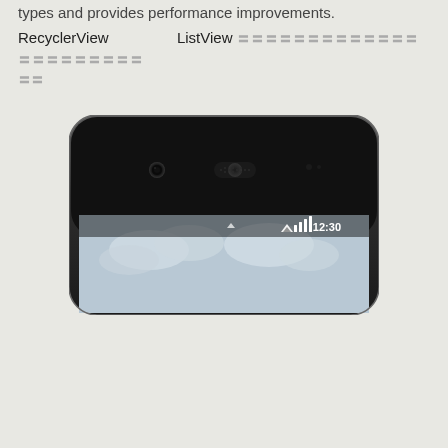types and provides performance improvements.
RecyclerView         ListView 〓〓〓〓〓〓〓〓〓〓〓〓〓〓〓〓〓〓〓〓〓〓 〓〓
[Figure (photo): Top portion of an Android smartphone (Nexus 5 style) showing the front camera, speaker, and the top of the screen with status bar showing time 12:30 and signal indicators, with a sky/clouds wallpaper visible.]